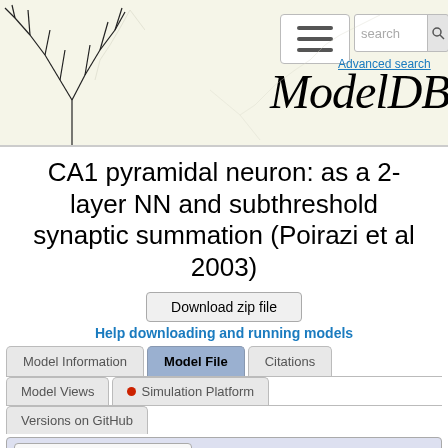[Figure (screenshot): ModelDB website header with neuron illustration on left, hamburger menu button, search box, Advanced search link, and ModelDB italic title]
CA1 pyramidal neuron: as a 2-layer NN and subthreshold synaptic summation (Poirazi et al 2003)
Download zip file
Help downloading and running models
Model Information | Model File | Citations | Model Views | Simulation Platform | Versions on GitHub
Download the displayed file
/ CA1 r  // For each band of AMPA and NMDA synapses, this function makes a file wit